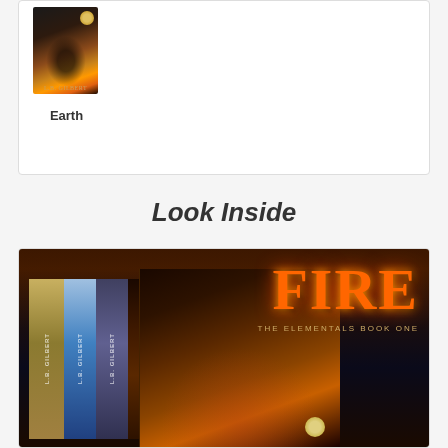[Figure (illustration): Book cover for 'Earth' by L.B. Gilbert, showing a dark fantasy cover with a female figure in a fiery setting, part of The Elementals series]
Earth
Look Inside
[Figure (photo): Box set of The Elementals series by L.B. Gilbert, showing multiple book spines and the front cover of 'Fire: The Elementals Book One' with fiery title text and a red-haired female figure]